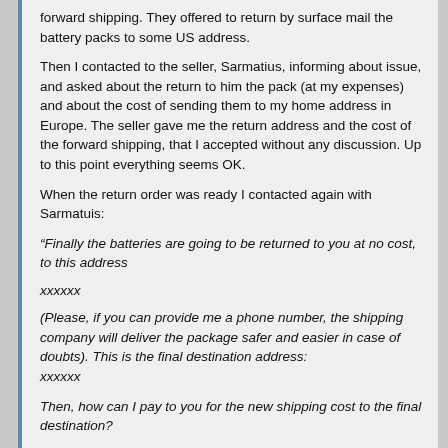forward shipping. They offered to return by surface mail the battery packs to some US address.
Then I contacted to the seller, Sarmatius, informing about issue, and asked about the return to him the pack (at my expenses) and about the cost of sending them to my home address in Europe. The seller gave me the return address and the cost of the forward shipping, that I accepted without any discussion. Up to this point everything seems OK.
When the return order was ready I contacted again with Sarmatuis:
“Finally the batteries are going to be returned to you at no cost, to this address
xxxxxx
(Please, if you can provide me a phone number, the shipping company will deliver the package safer and easier in case of doubts). This is the final destination address:
xxxxxx
Then, how can I pay to you for the new shipping cost to the final destination?